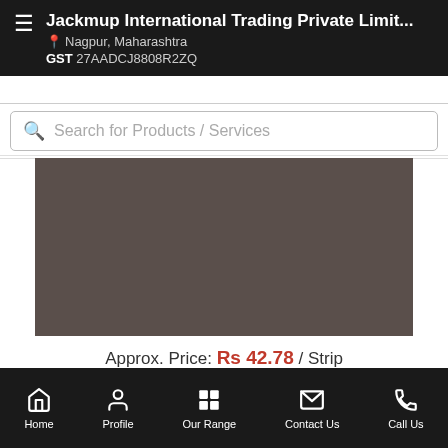Jackmup International Trading Private Limit... Nagpur, Maharashtra GST 27AADCJ8808R2ZQ
Search for Products / Services
[Figure (photo): Product image placeholder – dark brownish-grey rectangle]
Approx. Price: Rs 42.78 / Strip
Product Details:
Minimum Order Quantity: 10 Strip
Manufacturer: USV...more
Call Us
Get Details
Home  Profile  Our Range  Contact Us  Call Us